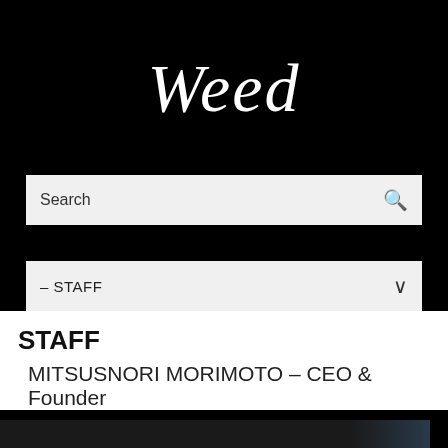[Figure (logo): Weed company logo in white italic script font on black background]
Search
– STAFF
STAFF
MITSUSNORI MORIMOTO – CEO & Founder
[Figure (photo): Dark photo of a person, with white monospace text overlay reading: We sincerely thank you for your continued trust and c... till today from when we founded Weed Co., Ltd. in 200...]